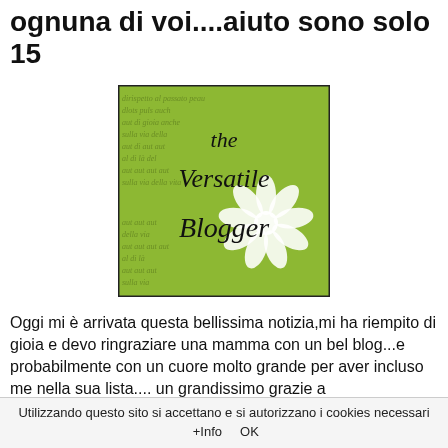ognuna di voi....aiuto sono solo 15
[Figure (illustration): The Versatile Blogger award badge — green square with handwritten-style text reading 'the Versatile Blogger' and a white flower illustration in the lower right corner, on a background of cursive script text]
Oggi mi è arrivata questa bellissima notizia,mi ha riempito di gioia e devo ringraziare una mamma con un bel blog...e probabilmente con un cuore molto grande per aver incluso me nella sua lista.... un grandissimo grazie a http://www.mammacanta.it/ ed
Utilizzando questo sito si accettano e si autorizzano i cookies necessari  +Info      OK